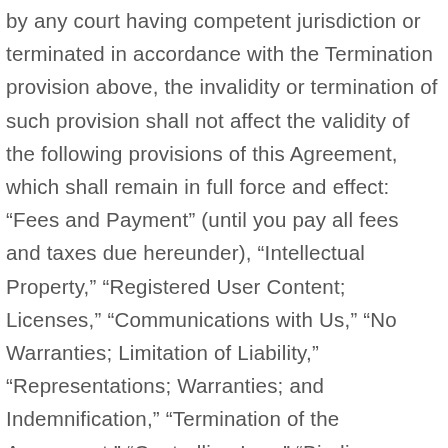by any court having competent jurisdiction or terminated in accordance with the Termination provision above, the invalidity or termination of such provision shall not affect the validity of the following provisions of this Agreement, which shall remain in full force and effect: “Fees and Payment” (until you pay all fees and taxes due hereunder), “Intellectual Property,” “Registered User Content; Licenses,” “Communications with Us,” “No Warranties; Limitation of Liability,” “Representations; Warranties; and Indemnification,” “Termination of the Agreement,” “Controlling Law,” “Binding Arbitration,” “Class Action Waiver,” and “Miscellaneous.”